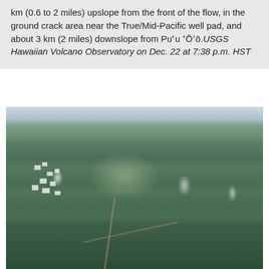km (0.6 to 2 miles) upslope from the front of the flow, in the ground crack area near the True/Mid-Pacific well pad, and about 3 km (2 miles) downslope from Pu'u 'Ō'ō. USGS Hawaiian Volcano Observatory on Dec. 22 at 7:38 p.m. HST
[Figure (photo): Aerial photograph showing an overhead view of a lava flow area near Pahoa, Hawaii. The image shows a forested landscape with roads/paths visible, scattered buildings on the left side, smoke wisps rising from the flow front on the right side, and a hazy sky in the background.]